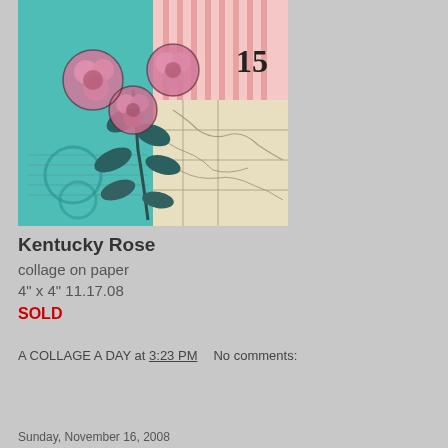[Figure (illustration): Artwork titled Kentucky Rose: a collage featuring pink roses with dark outlines on a mixed background of teal, pink stripes, and a vintage map. The number 15 appears in the upper right area.]
Kentucky Rose
collage on paper
4" x 4" 11.17.08
SOLD
A COLLAGE A DAY at 3:23 PM   No comments:
Share
Sunday, November 16, 2008